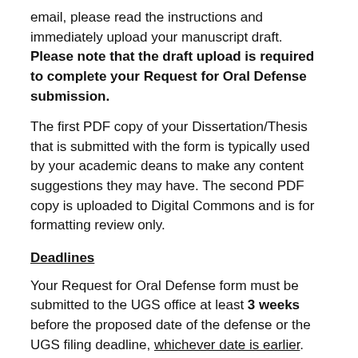email, please read the instructions and immediately upload your manuscript draft. Please note that the draft upload is required to complete your Request for Oral Defense submission.
The first PDF copy of your Dissertation/Thesis that is submitted with the form is typically used by your academic deans to make any content suggestions they may have. The second PDF copy is uploaded to Digital Commons and is for formatting review only.
Deadlines
Your Request for Oral Defense form must be submitted to the UGS office at least 3 weeks before the proposed date of the defense or the UGS filing deadline, whichever date is earlier. The UGS deadline for Summer 2022 is Friday, June 10, 2022.